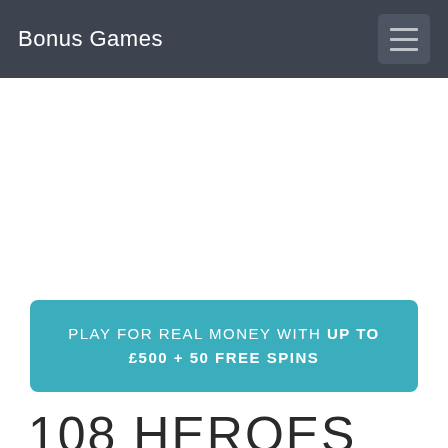Bonus Games
PLAY FOR REAL MONEY WITH UP TO £500 + 50 FREE SPINS
108 HEROES